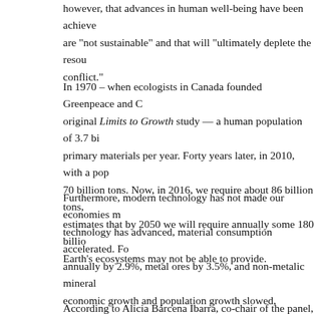however, that advances in human well-being have been achieved are "not sustainable" and that will "ultimately deplete the resources" conflict."
In 1970 – when ecologists in Canada founded Greenpeace and C original Limits to Growth study — a human population of 3.7 bi primary materials per year. Forty years later, in 2010, with a pop 70 billion tons. Now, in 2016, we require about 86 billion tons, estimates that by 2050 we will require annually some 180 billio Earth's ecosystems may not be able to provide.
Furthermore, modern technology has not made our economies m technology has advanced, material consumption accelerated. Fo annually by 2.9%, metal ores by 3.5%, and non-metalic mineral economic growth and population growth slowed, material dema consumption has increased among the rich, and we now spend i extract lower grade resources, reducing productivity.
According to Alicia Bárcena Ibarra, co-chair of the panel, "The